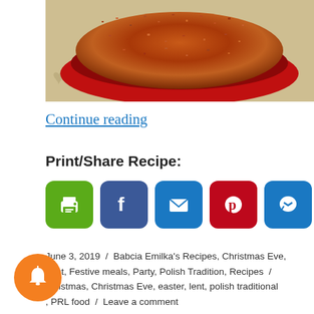[Figure (photo): A red bowl filled with orange-red rice or grain dish (possibly sauerkraut and rice), viewed from above on a decorative tablecloth.]
Continue reading
Print/Share Recipe:
[Figure (infographic): Six social sharing icon buttons: print (green), Facebook (blue), email (blue), Pinterest (red), Messenger (blue), more/add (blue).]
June 3, 2019 / Babcia Emilka's Recipes, Christmas Eve, Fast, Festive meals, Party, Polish Tradition, Recipes / christmas, Christmas Eve, easter, lent, polish traditional, PRL food / Leave a comment
[Figure (illustration): Orange notification bell icon button (circular).]